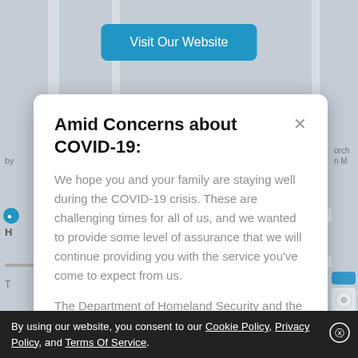[Figure (screenshot): Map background with gray overlay and 'Visit Our Website' blue button at top center]
Amid Concerns about COVID-19:
We hope you and your family are staying well during the COVID-19 crisis. These are challenging times for all of us, and we wanted to provide some level of assurance that we will continue providing you with the service you've come to expect from us.
The Department of Homeland Security and the State of
[Figure (screenshot): Schedule FREE Estimate blue button with arrow]
Powered By WHIRLOCAL
By using our website, you consent to our Cookie Policy, Privacy Policy, and Terms Of Service.